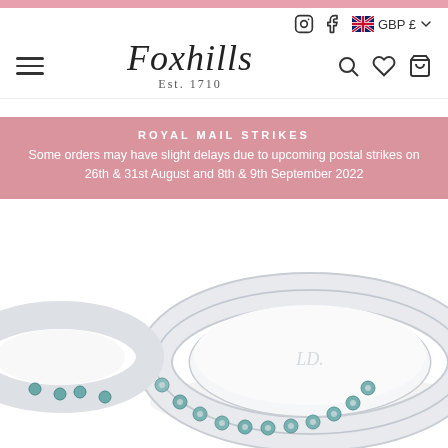Foxhills Est. 1710 – navigation header with hamburger menu, logo, search, wishlist, cart icons; GBP £ currency selector; Instagram and Facebook icons
ROYAL MAIL STRIKES
Some orders may have slight delays due to upcoming postal strikes on 26th & 31st August and 8th & 9th September 2022
[Figure (photo): Close-up photo of a silver eternity ring with small aquamarine/teal gemstones set all around the band, photographed on a white background. The ring has a logo engraved on the inside of the band.]